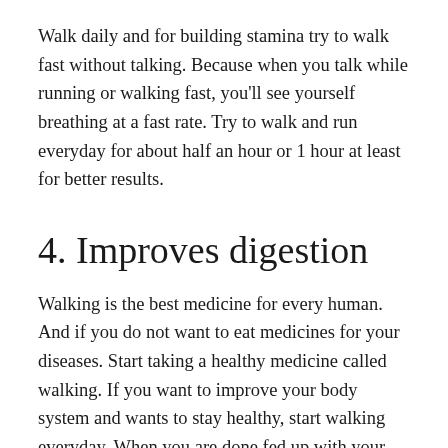Walk daily and for building stamina try to walk fast without talking. Because when you talk while running or walking fast, you'll see yourself breathing at a fast rate. Try to walk and run everyday for about half an hour or 1 hour at least for better results.
4. Improves digestion
Walking is the best medicine for every human. And if you do not want to eat medicines for your diseases. Start taking a healthy medicine called walking. If you want to improve your body system and wants to stay healthy, start walking everyday. When you are done fed up with your empty stomach or stomach ache, try to walk at